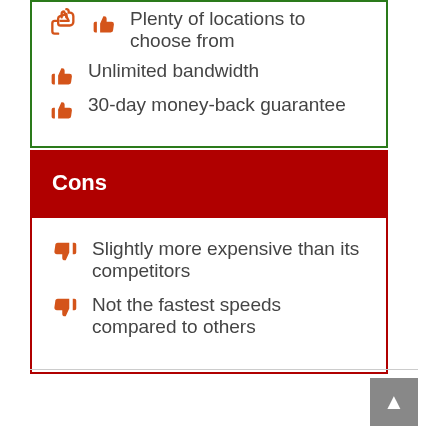Plenty of locations to choose from
Unlimited bandwidth
30-day money-back guarantee
Cons
Slightly more expensive than its competitors
Not the fastest speeds compared to others